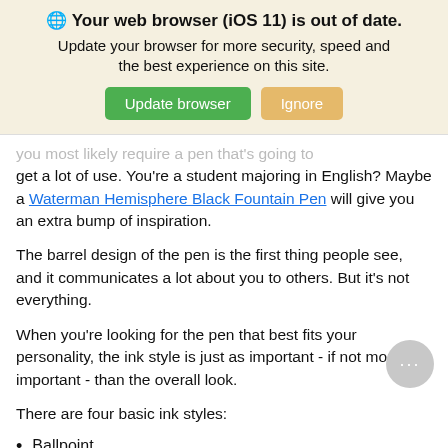[Figure (screenshot): Browser update banner with globe icon, bold title 'Your web browser (iOS 11) is out of date.', subtitle 'Update your browser for more security, speed and the best experience on this site.', and two buttons: 'Update browser' (green) and 'Ignore' (tan/yellow).]
...you most likely require a pen that's going to get a lot of use. You're a student majoring in English? Maybe a Waterman Hemisphere Black Fountain Pen will give you an extra bump of inspiration.
The barrel design of the pen is the first thing people see, and it communicates a lot about you to others. But it's not everything.
When you're looking for the pen that best fits your personality, the ink style is just as important - if not more important - than the overall look.
There are four basic ink styles:
Ballpoint
Rollerball